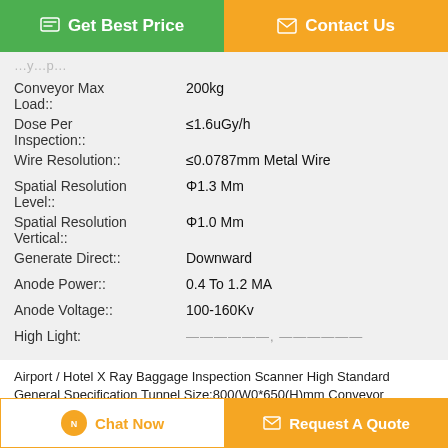Get Best Price | Contact Us
| Property | Value |
| --- | --- |
| Conveyor Max Load:: | 200kg |
| Dose Per Inspection:: | ≤1.6uGy/h |
| Wire Resolution:: | ≤0.0787mm Metal Wire |
| Spatial Resolution Level:: | Φ1.3 Mm |
| Spatial Resolution Vertical:: | Φ1.0 Mm |
| Generate Direct:: | Downward |
| Anode Power:: | 0.4 To 1.2 MA |
| Anode Voltage:: | 100-160Kv |
| High Light: | ——————, —————— |
Airport / Hotel X Ray Baggage Inspection Scanner High Standard General Specification Tunnel Size:800(W0*650(H)mm Conveyor Speed:0.22m/s Conveyor
Chat Now | Request A Quote